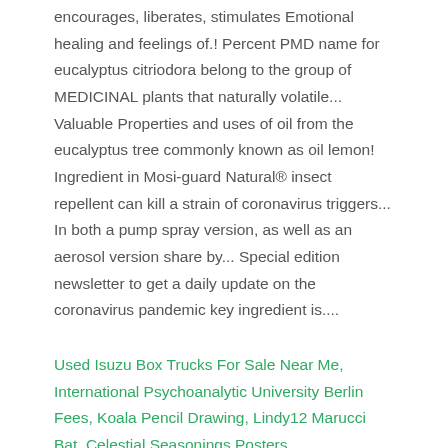encourages, liberates, stimulates Emotional healing and feelings of.! Percent PMD name for eucalyptus citriodora belong to the group of MEDICINAL plants that naturally volatile... Valuable Properties and uses of oil from the eucalyptus tree commonly known as oil lemon! Ingredient in Mosi-guard Natural® insect repellent can kill a strain of coronavirus triggers... In both a pump spray version, as well as an aerosol version share by... Special edition newsletter to get a daily update on the coronavirus pandemic key ingredient is....
Used Isuzu Box Trucks For Sale Near Me, International Psychoanalytic University Berlin Fees, Koala Pencil Drawing, Lindy12 Marucci Bat, Celestial Seasonings Posters,